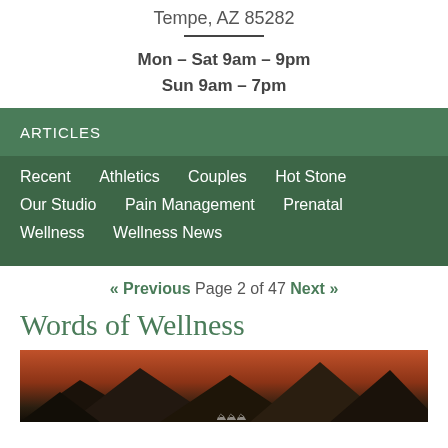Tempe, AZ 85282
Mon – Sat 9am – 9pm
Sun 9am – 7pm
ARTICLES
Recent   Athletics   Couples   Hot Stone   Our Studio   Pain Management   Prenatal   Wellness   Wellness News
« Previous Page 2 of 47 Next »
Words of Wellness
[Figure (photo): Landscape photo of mountains at sunset/dusk with warm orange-red sky and silhouetted mountain peaks with small tree icons at bottom center]